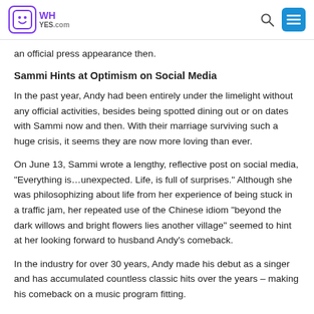WHyes.com
an official press appearance then.
Sammi Hints at Optimism on Social Media
In the past year, Andy had been entirely under the limelight without any official activities, besides being spotted dining out or on dates with Sammi now and then. With their marriage surviving such a huge crisis, it seems they are now more loving than ever.
On June 13, Sammi wrote a lengthy, reflective post on social media, “Everything is…unexpected. Life, is full of surprises.” Although she was philosophizing about life from her experience of being stuck in a traffic jam, her repeated use of the Chinese idiom “beyond the dark willows and bright flowers lies another village” seemed to hint at her looking forward to husband Andy’s comeback.
In the industry for over 30 years, Andy made his debut as a singer and has accumulated countless classic hits over the years – making his comeback on a music program fitting.